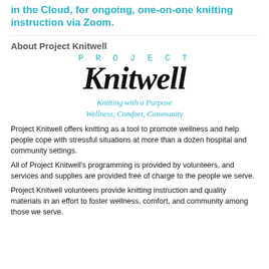in the Cloud, for ongoing, one-on-one knitting instruction via Zoom.
About Project Knitwell
[Figure (logo): Project Knitwell logo with 'PROJECT' in spaced teal caps, 'Knitwell' in large black script font, and taglines 'Knitting with a Purpose' and 'Wellness, Comfort, Community' in teal italic.]
Project Knitwell offers knitting as a tool to promote wellness and help people cope with stressful situations at more than a dozen hospital and community settings.
All of Project Knitwell's programming is provided by volunteers, and services and supplies are provided free of charge to the people we serve.
Project Knitwell volunteers provide knitting instruction and quality materials in an effort to foster wellness, comfort, and community among those we serve.